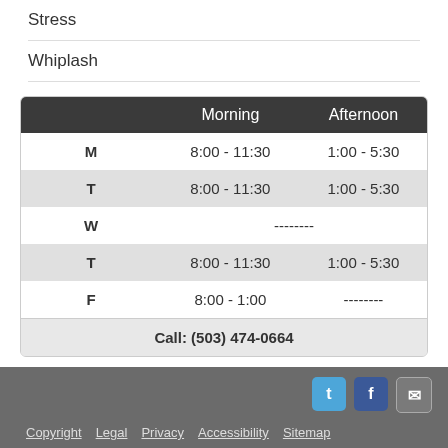Stress
Whiplash
|  | Morning | Afternoon |
| --- | --- | --- |
| M | 8:00 - 11:30 | 1:00 - 5:30 |
| T | 8:00 - 11:30 | 1:00 - 5:30 |
| W | -------- |  |
| T | 8:00 - 11:30 | 1:00 - 5:30 |
| F | 8:00 - 1:00 | -------- |
| Call:  (503) 474-0664 |  |  |
Copyright  Legal  Privacy  Accessibility  Sitemap
Chiropractic Websites by Perfect Patients